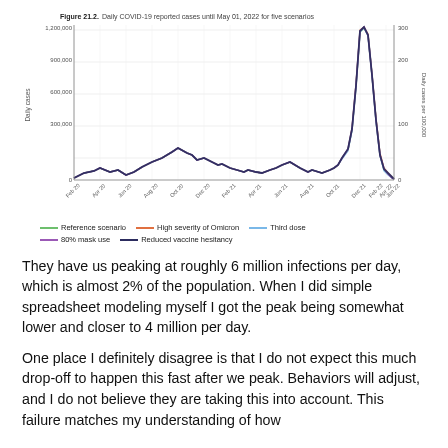[Figure (line-chart): Line chart showing five overlapping COVID-19 scenario lines peaking sharply around Feb 22 at approximately 1,200,000 daily cases (300 per 100,000), with earlier smaller peaks around Jan 21 (~250,000) and Oct/Nov 2020.]
Figure 21.2. Daily COVID-19 reported cases until May 01, 2022 for five scenarios
They have us peaking at roughly 6 million infections per day, which is almost 2% of the population. When I did simple spreadsheet modeling myself I got the peak being somewhat lower and closer to 4 million per day.
One place I definitely disagree is that I do not expect this much drop-off to happen this fast after we peak. Behaviors will adjust, and I do not believe they are taking this into account. This failure matches my understanding of how